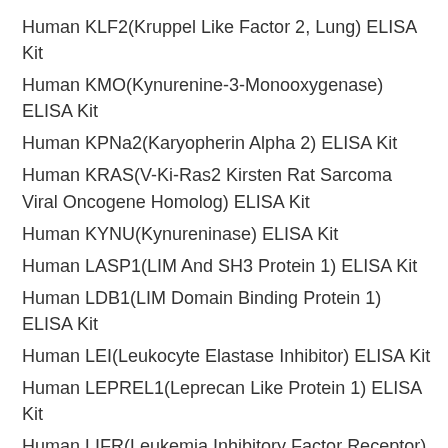Human KLF2(Kruppel Like Factor 2, Lung) ELISA Kit
Human KMO(Kynurenine-3-Monooxygenase) ELISA Kit
Human KPNa2(Karyopherin Alpha 2) ELISA Kit
Human KRAS(V-Ki-Ras2 Kirsten Rat Sarcoma Viral Oncogene Homolog) ELISA Kit
Human KYNU(Kynureninase) ELISA Kit
Human LASP1(LIM And SH3 Protein 1) ELISA Kit
Human LDB1(LIM Domain Binding Protein 1) ELISA Kit
Human LEI(Leukocyte Elastase Inhibitor) ELISA Kit
Human LEPREL1(Leprecan Like Protein 1) ELISA Kit
Human LIFR(Leukemia Inhibitory Factor Receptor) ELISA Kit
Human LPCAT1(lysophosphatidylcholine...